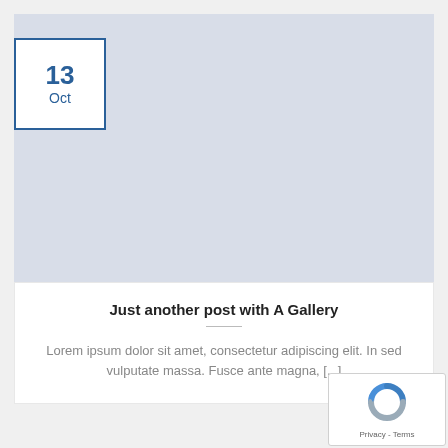[Figure (other): Light blue image placeholder for first blog post]
[Figure (other): Date badge showing 13 Oct in blue border box]
Just another post with A Gallery
Lorem ipsum dolor sit amet, consectetur adipiscing elit. In sed vulputate massa. Fusce ante magna, [...]
[Figure (other): Light blue image placeholder for second blog post]
[Figure (other): Date badge showing 13 Oct in blue border box (second instance)]
[Figure (other): Google reCAPTCHA badge with logo and Privacy/Terms links]